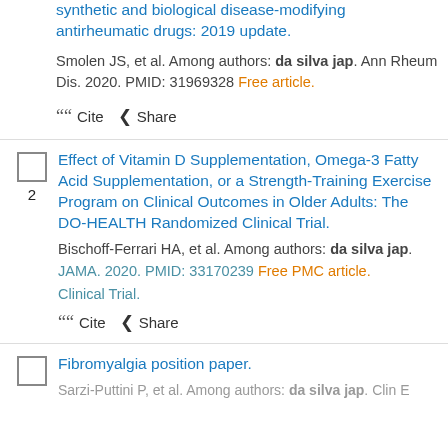synthetic and biological disease-modifying antirheumatic drugs: 2019 update.
Smolen JS, et al. Among authors: da silva jap. Ann Rheum Dis. 2020. PMID: 31969328 Free article.
Cite   Share
Effect of Vitamin D Supplementation, Omega-3 Fatty Acid Supplementation, or a Strength-Training Exercise Program on Clinical Outcomes in Older Adults: The DO-HEALTH Randomized Clinical Trial.
Bischoff-Ferrari HA, et al. Among authors: da silva jap. JAMA. 2020. PMID: 33170239 Free PMC article. Clinical Trial.
Cite   Share
Fibromyalgia position paper.